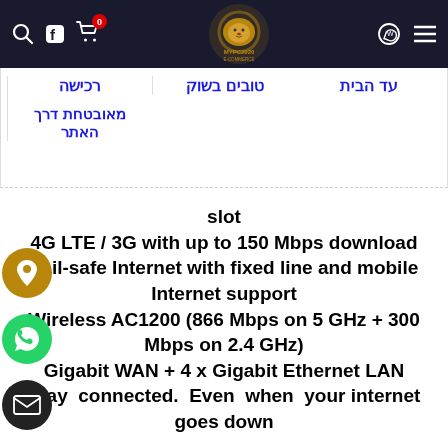MYPC2020 e-commerce website navigation bar with search, Facebook, cart (0), logo, WhatsApp, and menu icons
עד הבית   טובים בשוק   רכישה מאובטחת דרך האתר
slot
4G LTE / 3G with up to 150 Mbps download
Fail-safe Internet with fixed line and mobile Internet support
Wireless AC1200 (866 Mbps on 5 GHz + 300 Mbps on 2.4 GHz)
Gigabit WAN + 4 x Gigabit Ethernet LAN
Stay connected. Even when your internet goes down